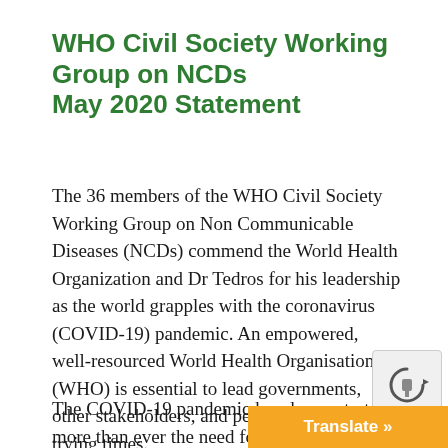WHO Civil Society Working Group on NCDs
May 2020 Statement
The 36 members of the WHO Civil Society Working Group on Non Communicable Diseases (NCDs) commend the World Health Organization and Dr Tedros for his leadership as the world grapples with the coronavirus (COVID-19) pandemic. An empowered, well-resourced World Health Organisation (WHO) is essential to lead governments, other stakeholders, and people through these trying times.
The COVID-19 pandemic has demonstrated more than ever the need for resilie...